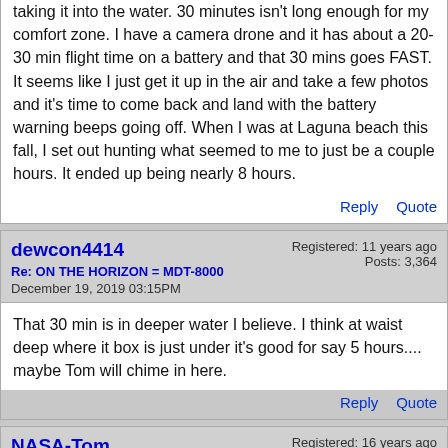taking it into the water. 30 minutes isn't long enough for my comfort zone. I have a camera drone and it has about a 20-30 min flight time on a battery and that 30 mins goes FAST. It seems like I just get it up in the air and take a few photos and it's time to come back and land with the battery warning beeps going off. When I was at Laguna beach this fall, I set out hunting what seemed to me to just be a couple hours. It ended up being nearly 8 hours.
Reply   Quote
dewcon4414
Re: ON THE HORIZON = MDT-8000
December 19, 2019 03:15PM
Registered: 11 years ago
Posts: 3,364
That 30 min is in deeper water I believe. I think at waist deep where it box is just under it's good for say 5 hours.... maybe Tom will chime in here.
Reply   Quote
NASA-Tom
Re: ON THE HORIZON = MDT-8000
Registered: 16 years ago
Posts: 9,434